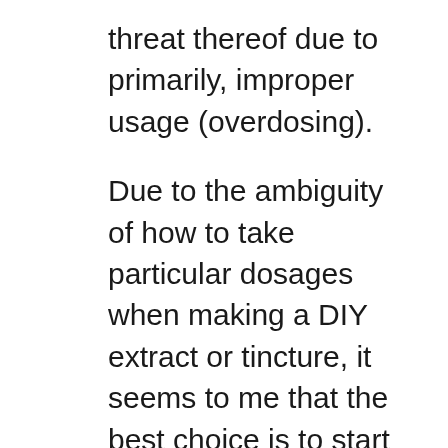threat thereof due to primarily, improper usage (overdosing).
Due to the ambiguity of how to take particular dosages when making a DIY extract or tincture, it seems to me that the best choice is to start off with a low dosage as you are not able to verify the exact concentration of your finished product. The same could be said about the wild lettuce tea as well, but in all my findings, all the sources pretty much say 1 to 2 teaspoons is perfectly safe to make a cup of tea. Which is roughly